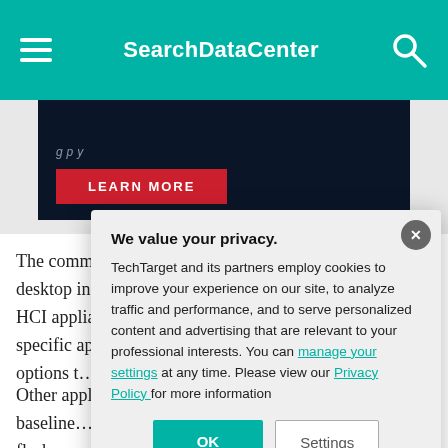SearchDataCenter
[Figure (other): Dark advertisement banner with 'LEARN MORE' red button]
The common early use for HCI was virtual desktop infrastructure (VDI) … the common in the HCI appliances could … machines (VMs) … has specific app… that requires IT a… various options t…
Other applications… example, may re… vendor's baselin… application may … speed of all-flash…
We value your privacy.
TechTarget and its partners employ cookies to improve your experience on our site, to analyze traffic and performance, and to serve personalized content and advertising that are relevant to your professional interests. You can manage your settings at any time. Please view our Privacy Policy for more information